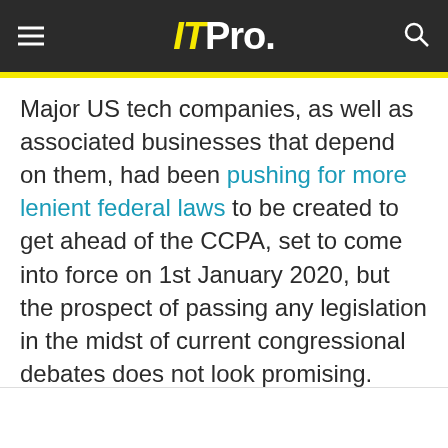ITPro.
Major US tech companies, as well as associated businesses that depend on them, had been pushing for more lenient federal laws to be created to get ahead of the CCPA, set to come into force on 1st January 2020, but the prospect of passing any legislation in the midst of current congressional debates does not look promising.